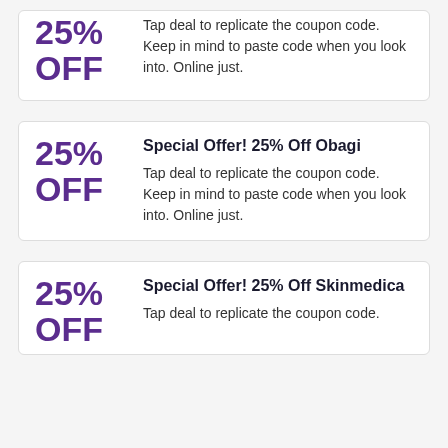25% OFF
Tap deal to replicate the coupon code. Keep in mind to paste code when you look into. Online just.
Special Offer! 25% Off Obagi
25% OFF
Tap deal to replicate the coupon code. Keep in mind to paste code when you look into. Online just.
Special Offer! 25% Off Skinmedica
25% OFF
Tap deal to replicate the coupon code.